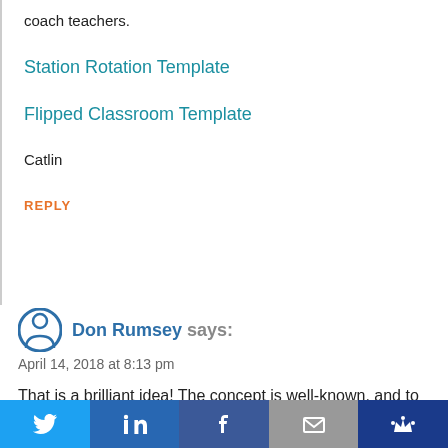coach teachers.
Station Rotation Template
Flipped Classroom Template
Catlin
REPLY
Don Rumsey says:
April 14, 2018 at 8:13 pm
That is a brilliant idea! The concept is well-known, and to not impugn, but I LOVE the intentionality you